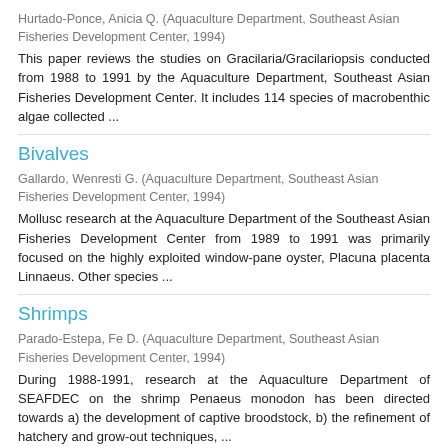Hurtado-Ponce, Anicia Q. (Aquaculture Department, Southeast Asian Fisheries Development Center, 1994)
This paper reviews the studies on Gracilaria/Gracilariopsis conducted from 1988 to 1991 by the Aquaculture Department, Southeast Asian Fisheries Development Center. It includes 114 species of macrobenthic algae collected ...
Bivalves
Gallardo, Wenresti G. (Aquaculture Department, Southeast Asian Fisheries Development Center, 1994)
Mollusc research at the Aquaculture Department of the Southeast Asian Fisheries Development Center from 1989 to 1991 was primarily focused on the highly exploited window-pane oyster, Placuna placenta Linnaeus. Other species ...
Shrimps
Parado-Estepa, Fe D. (Aquaculture Department, Southeast Asian Fisheries Development Center, 1994)
During 1988-1991, research at the Aquaculture Department of SEAFDEC on the shrimp Penaeus monodon has been directed towards a) the development of captive broodstock, b) the refinement of hatchery and grow-out techniques, ...